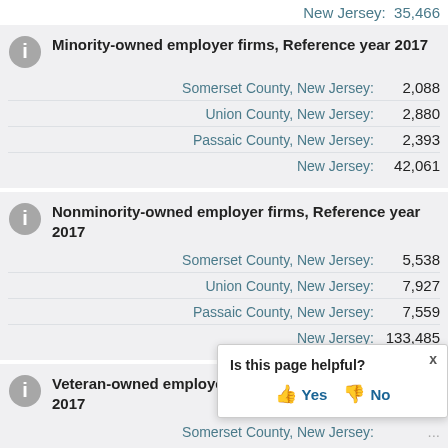New Jersey: 35,466
Minority-owned employer firms, Reference year 2017
Somerset County, New Jersey: 2,088
Union County, New Jersey: 2,880
Passaic County, New Jersey: 2,393
New Jersey: 42,061
Nonminority-owned employer firms, Reference year 2017
Somerset County, New Jersey: 5,538
Union County, New Jersey: 7,927
Passaic County, New Jersey: 7,559
New Jersey: 133,485
Veteran-owned employer firms, Reference year 2017
Somerset County, New Jersey: ...